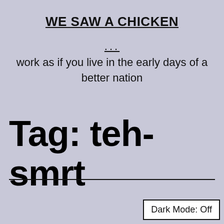WE SAW A CHICKEN
...
work as if you live in the early days of a better nation
Tag: teh-smrt
Dark Mode: Off